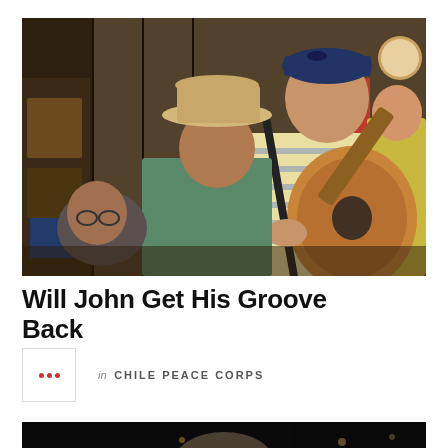[Figure (photo): Outdoor scene with two men, one playing an acoustic guitar wearing a striped polo shirt and blue cap, and another man in a teal t-shirt and cowboy hat, in front of a rustic wooden store with a Lone Star sign.]
Will John Get His Groove Back
in CHILE PEACE CORPS
[Figure (photo): Dark photo showing partial view of a person's head/shoulders against a dark background with some light sources visible.]